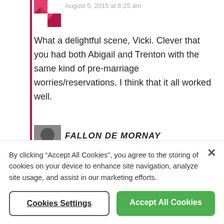August 5, 2015 at 6:25 am
[Figure (photo): User avatar with geometric pink/white pattern]
What a delightful scene, Vicki. Clever that you had both Abigail and Trenton with the same kind of pre-marriage worries/reservations. I think that it all worked well.
[Figure (photo): User avatar photo (partial, second comment)]
FALLON DE MORNAY
By clicking “Accept All Cookies”, you agree to the storing of cookies on your device to enhance site navigation, analyze site usage, and assist in our marketing efforts.
Cookies Settings
Accept All Cookies